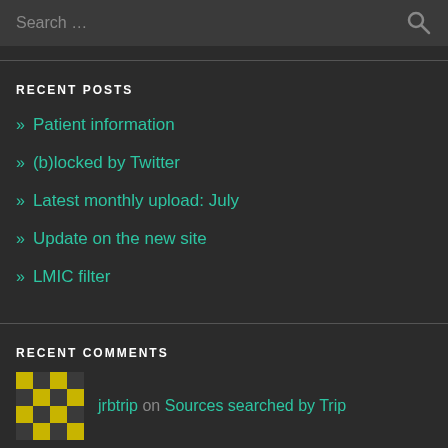Search …
RECENT POSTS
» Patient information
» (b)locked by Twitter
» Latest monthly upload: July
» Update on the new site
» LMIC filter
RECENT COMMENTS
jrbtrip on Sources searched by Trip